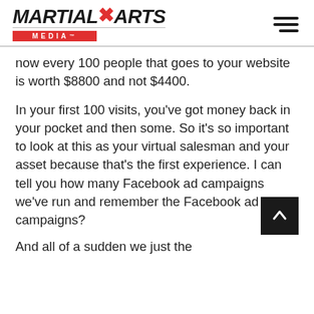[Figure (logo): Martial Arts Media logo with red accent and hamburger menu icon]
now every 100 people that goes to your website is worth $8800 and not $4400.
In your first 100 visits, you've got money back in your pocket and then some. So it's so important to look at this as your virtual salesman and your asset because that's the first experience. I can tell you how many Facebook ad campaigns we've run and remember the Facebook ad campaigns?
And all of a sudden we just the